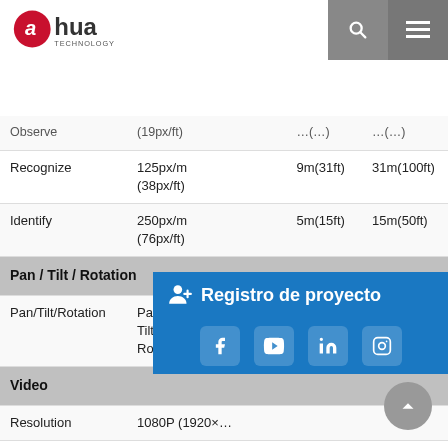Dahua Technology
| Feature | Spec |
| --- | --- |
| Observe | (19px/ft) | ... | ... |
| Recognize | 125px/m (38px/ft) | 9m(31ft) | 31m(100ft) |
| Identify | 250px/m (76px/ft) | 5m(15ft) | 15m(50ft) |
| Pan / Tilt / Rotation |  |
| Pan/Tilt/Rotation | Pan: 0° ~ 360°
Tilt: 0° ~ 87°
Rotation: 0° ~ 360° |
| Video |  |
| Resolution | 1080P (1920×...) |
| Frame Rate | 25/30fps@1080P, 25/30fps@720P |
| Video Output | 1-channel BN... CVBS video output (Can switch) |
| Day/Night | Auto (ICR) / Manual |
| OSD Menu | Multi-language |
| BLC Mode | BLC / HLC / WDR |
| WDR | 120dB |